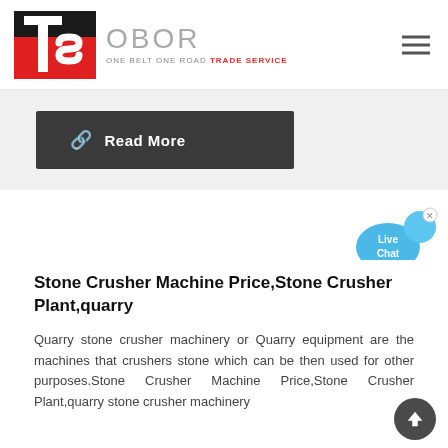[Figure (logo): OBOR (One Belt One Road Trade Service) logo with red and black geometric TS symbol on the left and grey OBOR text on the right]
[Figure (other): Dark grey Read More button with chain link icon]
[Figure (other): Live Chat speech bubble widget in blue]
Stone Crusher Machine Price,Stone Crusher Plant,quarry
Quarry stone crusher machinery or Quarry equipment are the machines that crushers stone which can be then used for other purposes.Stone Crusher Machine Price,Stone Crusher Plant,quarry stone crusher machinery